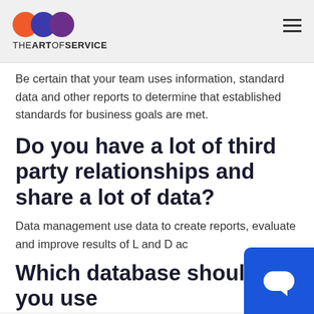THE ART OF SERVICE
Be certain that your team uses information, standard data and other reports to determine that established standards for business goals are met.
Do you have a lot of third party relationships and share a lot of data?
Data management use data to create reports, evaluate and improve results of L and D ac...
Which database should you use